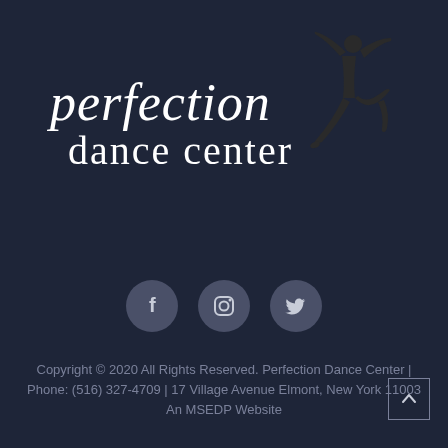[Figure (logo): Perfection Dance Center logo with italic 'perfection' text, 'dance center' text below, and a silhouette of a leaping dancer to the right]
[Figure (infographic): Three grey circular social media icons: Facebook (f), Instagram (camera), Twitter (bird), arranged horizontally]
Copyright © 2020 All Rights Reserved. Perfection Dance Center | Phone: (516) 327-4709 | 17 Village Avenue Elmont, New York 11003 An MSEDP Website